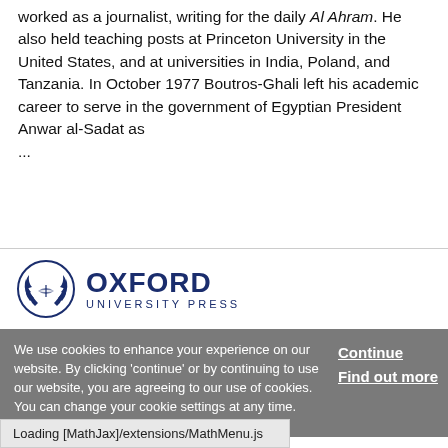worked as a journalist, writing for the daily Al Ahram. He also held teaching posts at Princeton University in the United States, and at universities in India, Poland, and Tanzania. In October 1977 Boutros-Ghali left his academic career to serve in the government of Egyptian President Anwar al-Sadat as ...
[Figure (logo): Oxford University Press logo with circular laurel wreath icon and OXFORD UNIVERSITY PRESS text in dark navy blue]
We use cookies to enhance your experience on our website. By clicking 'continue' or by continuing to use our website, you are agreeing to our use of cookies. You can change your cookie settings at any time.
Continue
Find out more
Loading [MathJax]/extensions/MathMenu.js